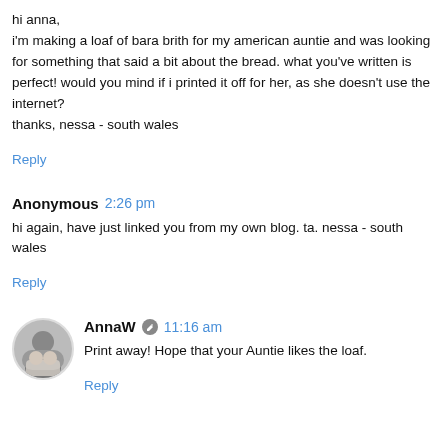hi anna,
i'm making a loaf of bara brith for my american auntie and was looking for something that said a bit about the bread. what you've written is perfect! would you mind if i printed it off for her, as she doesn't use the internet?
thanks, nessa - south wales
Reply
Anonymous 2:26 pm
hi again, have just linked you from my own blog. ta. nessa - south wales
Reply
AnnaW 11:16 am
Print away! Hope that your Auntie likes the loaf.
Reply